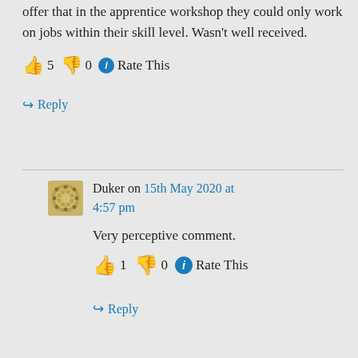offer that in the apprentice workshop they could only work on jobs within their skill level. Wasn't well received.
👍 5 👎 0 ℹ Rate This
↪ Reply
Duker on 15th May 2020 at 4:57 pm
Very perceptive comment.
👍 1 👎 0 ℹ Rate This
↪ Reply